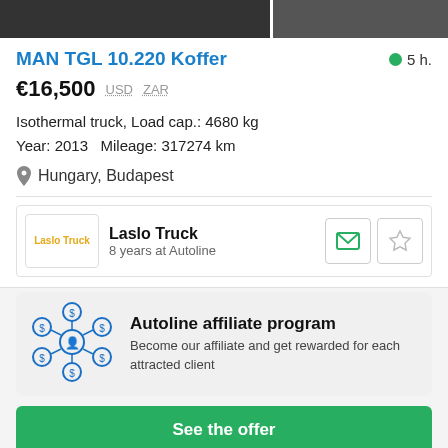[Figure (photo): Two truck photos at top of page, cropped, dark background]
MAN TGL 10.220 Koffer
5 h.
€16,500  USD  ZAR
Isothermal truck, Load cap.: 4680 kg
Year: 2013   Mileage: 317274 km
Hungary, Budapest
Laslo Truck
8 years at Autoline
Autoline affiliate program
Become our affiliate and get rewarded for each attracted client
See the offer